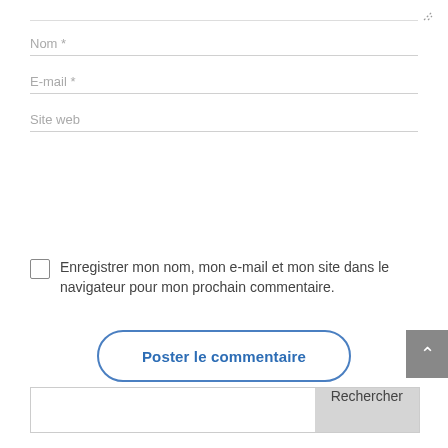[Figure (screenshot): Resize handle icon (diagonal dashed lines) in top right corner]
Nom *
E-mail *
Site web
Enregistrer mon nom, mon e-mail et mon site dans le navigateur pour mon prochain commentaire.
Poster le commentaire
Rechercher